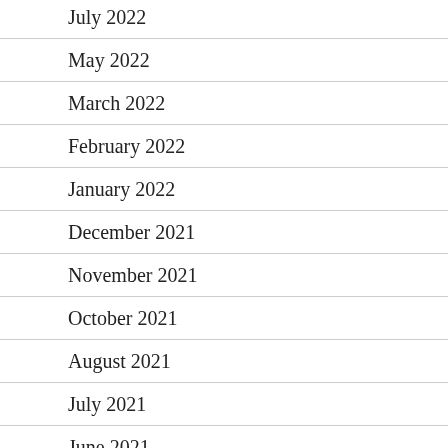July 2022
May 2022
March 2022
February 2022
January 2022
December 2021
November 2021
October 2021
August 2021
July 2021
June 2021
May 2021